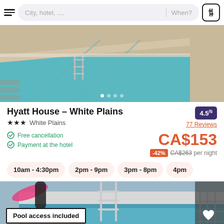City, hotel, ....   When?
[Figure (photo): Outdoor swimming pool with blue-green water, metal ladder/handrail visible, pool deck around it, aerial angled view]
Hyatt House – White Plains
★★★  White Plains
4.5/5
77 Reviews
Free cancellation
Payment at the hotel
CA$153
-42%  CA$263 per night
10am - 4:30pm
2pm - 9pm
3pm - 8pm
4pm
[Figure (photo): Hotel pool area close-up with pool ladder, blue pool water, lounge chairs and accessories visible, 'Pool access included' badge overlay, heart/favorite button overlay]